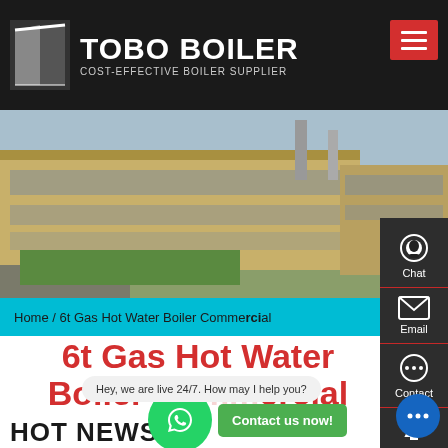[Figure (logo): TOBO BOILER logo with icon, white text on dark background, tagline COST-EFFECTIVE BOILER SUPPLIER]
[Figure (photo): Aerial photograph of large industrial factory/warehouse complex with green lawn in front]
Home / 6t Gas Hot Water Boiler Commercial
[Figure (infographic): Right-side chat/email/contact sidebar with dark background]
6t Gas Hot Water Boiler Commercial
[Figure (infographic): WhatsApp green circle button and Contact us now! green button]
Hey, we are live 24/7. How may I help you?
HOT NEWS